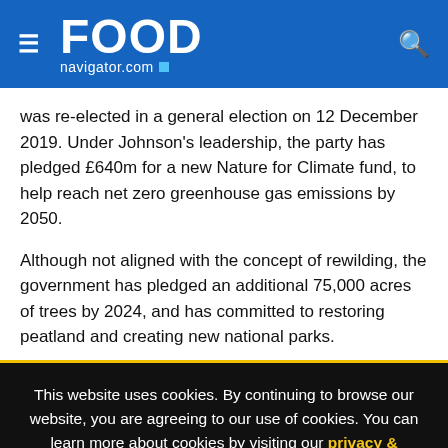FOOD navigator.com
was re-elected in a general election on 12 December 2019. Under Johnson's leadership, the party has pledged £640m for a new Nature for Climate fund, to help reach net zero greenhouse gas emissions by 2050.
Although not aligned with the concept of rewilding, the government has pledged an additional 75,000 acres of trees by 2024, and has committed to restoring peatland and creating new national parks.
This website uses cookies. By continuing to browse our website, you are agreeing to our use of cookies. You can learn more about cookies by visiting our privacy & cookies policy page.